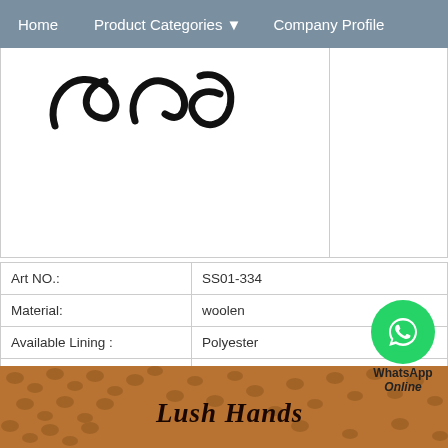Home   Product Categories ▼   Company Profile
[Figure (photo): Cropped product image showing part of a dark handwritten/stylized text or logo on white background]
| Art NO.: | SS01-334 |
| Material: | woolen |
| Available Lining : | Polyester |
| Available Size: | (6.5)  7  /  7.5  /  8  (8.5) |
| Available Color: | Yellow/Black / Brown / Wine / Navy |
| MOQ: | 100prs for stock color     (500prs for c |
[Figure (logo): WhatsApp green phone icon circle with WhatsApp Online label]
[Figure (photo): Brown leather texture background with 'Lush Hands' brand text in italic serif font]